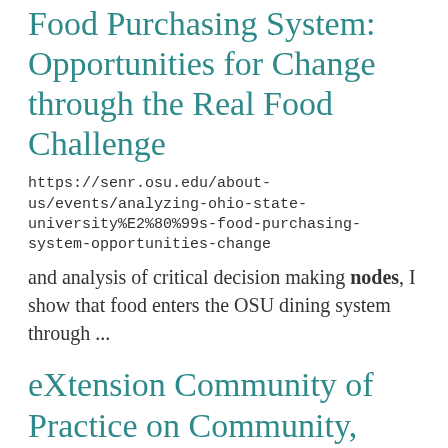Food Purchasing System: Opportunities for Change through the Real Food Challenge
https://senr.osu.edu/about-us/events/analyzing-ohio-state-university%E2%80%99s-food-purchasing-system-opportunities-change
and analysis of critical decision making nodes, I show that food enters the OSU dining system through ...
eXtension Community of Practice on Community, Local & Regional Food Systems
https://localfoods.osu.edu/news/extension-community-practice-community-local-regional-food-systems